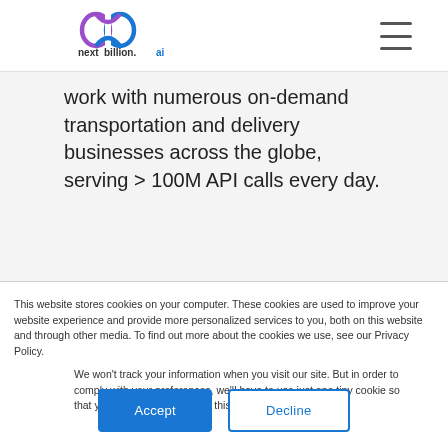[Figure (logo): nextbillion.ai logo with infinity/loop symbol in purple and blue, text 'next billion.ai']
work with numerous on-demand transportation and delivery businesses across the globe, serving > 100M API calls every day.
This website stores cookies on your computer. These cookies are used to improve your website experience and provide more personalized services to you, both on this website and through other media. To find out more about the cookies we use, see our Privacy Policy.
We won't track your information when you visit our site. But in order to comply with your preferences, we'll have to use just one tiny cookie so that you're not asked to make this choice again.
Accept
Decline